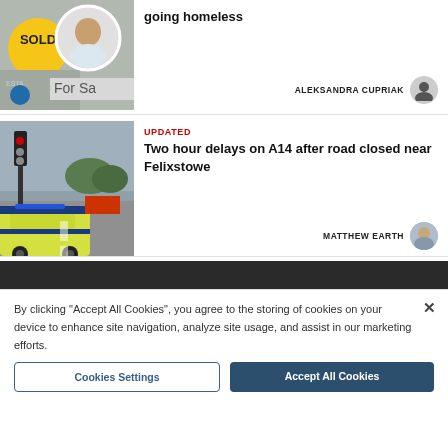[Figure (photo): Photo of estate agent SOLD sign and For Sale board with circular inset portrait of a man]
going homeless
ALEKSANDRA CUPRIAK
[Figure (photo): Photo of A14 road closure with police car in foreground and traffic signal]
UPDATED
Two hour delays on A14 after road closed near Felixstowe
MATTHEW EARTH
By clicking "Accept All Cookies", you agree to the storing of cookies on your device to enhance site navigation, analyze site usage, and assist in our marketing efforts.
Cookies Settings
Accept All Cookies